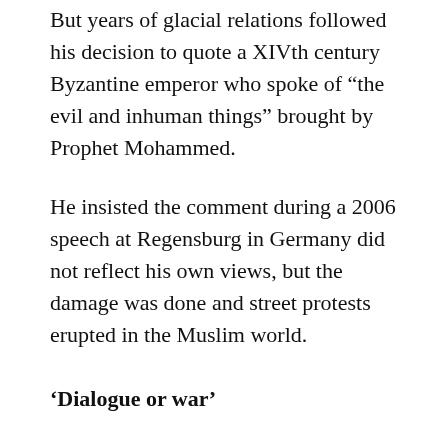But years of glacial relations followed his decision to quote a XIVth century Byzantine emperor who spoke of “the evil and inhuman things” brought by Prophet Mohammed.
He insisted the comment during a 2006 speech at Regensburg in Germany did not reflect his own views, but the damage was done and street protests erupted in the Muslim world.
‘Dialogue or war’
Pope Francis, however, avoids analysing the Koran.
His constant appeals for refugees to be welcomed, many of whom are Muslim, have helped win him support from the community, just as when he brought three Muslim families back on the papal plane from the Greek